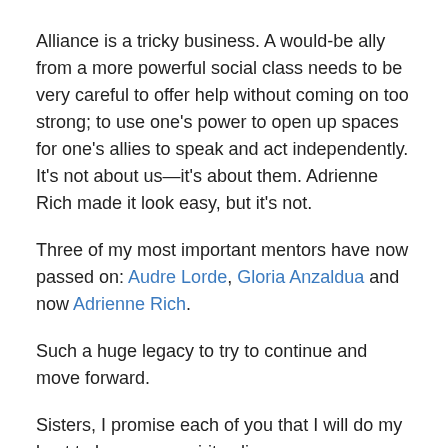Alliance is a tricky business. A would-be ally from a more powerful social class needs to be very careful to offer help without coming on too strong; to use one’s power to open up spaces for one’s allies to speak and act independently. It’s not about us—it’s about them. Adrienne Rich made it look easy, but it’s not.
Three of my most important mentors have now passed on: Audre Lorde, Gloria Anzaldua and now Adrienne Rich.
Such a huge legacy to try to continue and move forward.
Sisters, I promise each of you that I will do my best to keep your spirits alive.
Share this: